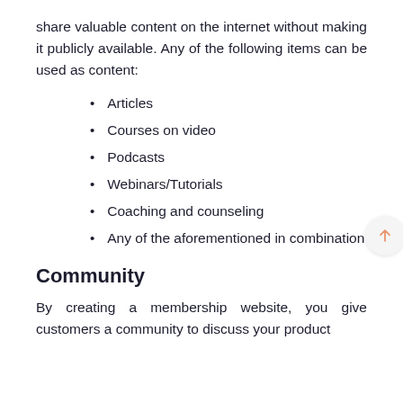share valuable content on the internet without making it publicly available. Any of the following items can be used as content:
Articles
Courses on video
Podcasts
Webinars/Tutorials
Coaching and counseling
Any of the aforementioned in combination
Community
By creating a membership website, you give customers a community to discuss your product